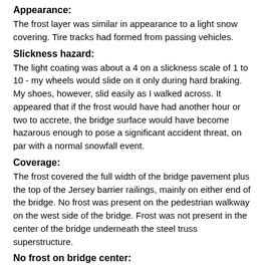Appearance:
The frost layer was similar in appearance to a light snow covering. Tire tracks had formed from passing vehicles.
Slickness hazard:
The light coating was about a 4 on a slickness scale of 1 to 10 - my wheels would slide on it only during hard braking. My shoes, however, slid easily as I walked across. It appeared that if the frost would have had another hour or two to accrete, the bridge surface would have become hazarous enough to pose a significant accident threat, on par with a normal snowfall event.
Coverage:
The frost covered the full width of the bridge pavement plus the top of the Jersey barrier railings, mainly on either end of the bridge. No frost was present on the pedestrian walkway on the west side of the bridge. Frost was not present in the center of the bridge underneath the steel truss superstructure.
No frost on bridge center: